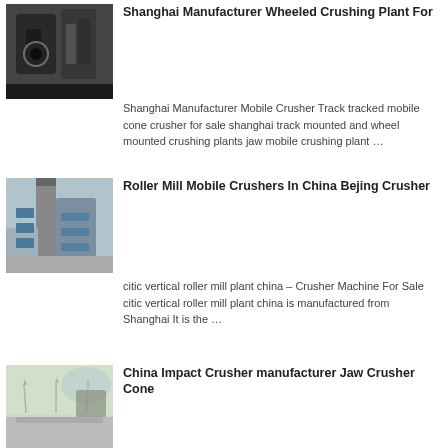[Figure (photo): Industrial crushing machine equipment, dark metallic machinery]
Shanghai Manufacturer Wheeled Crushing Plant For
Shanghai Manufacturer Mobile Crusher Track tracked mobile cone crusher for sale shanghai track mounted and wheel mounted crushing plants jaw mobile crushing plant …
[Figure (photo): Industrial roller mill plant with blue pipes and industrial structures]
Roller Mill Mobile Crushers In China Bejing Crusher
citic vertical roller mill plant china – Crusher Machine For Sale citic vertical roller mill plant china is manufactured from Shanghai It is the …
[Figure (photo): Road with street lamps and mountains in background, China]
China Impact Crusher manufacturer Jaw Crusher Cone